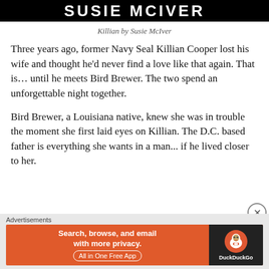[Figure (other): Book cover header with title 'SUSIE McIVER' in white text on black background]
Killian by Susie McIver
Three years ago, former Navy Seal Killian Cooper lost his wife and thought he'd never find a love like that again. That is… until he meets Bird Brewer. The two spend an unforgettable night together.
Bird Brewer, a Louisiana native, knew she was in trouble the moment she first laid eyes on Killian. The D.C. based father is everything she wants in a man... if he lived closer to her.
Advertisements — DuckDuckGo: Search, browse, and email with more privacy. All in One Free App